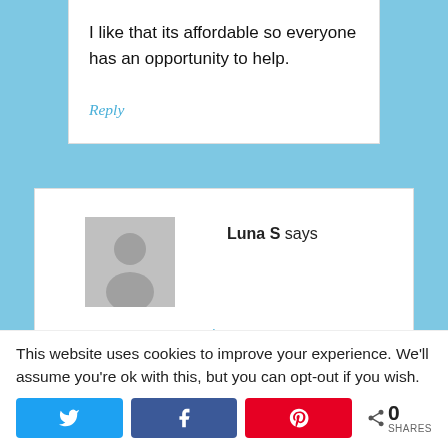I like that its affordable so everyone has an opportunity to help.
Reply
Luna S says
July 25, 2014 at 4:49 pm
This website uses cookies to improve your experience. We'll assume you're ok with this, but you can opt-out if you wish.
0 SHARES